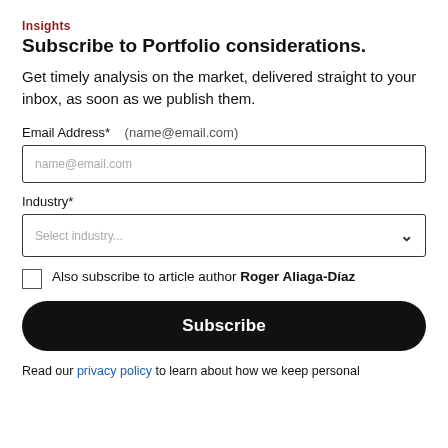Insights
Subscribe to Portfolio considerations.
Get timely analysis on the market, delivered straight to your inbox, as soon as we publish them.
Email Address*    (name@email.com)
Industry*
Also subscribe to article author Roger Aliaga-Díaz
Subscribe
Read our privacy policy to learn about how we keep personal